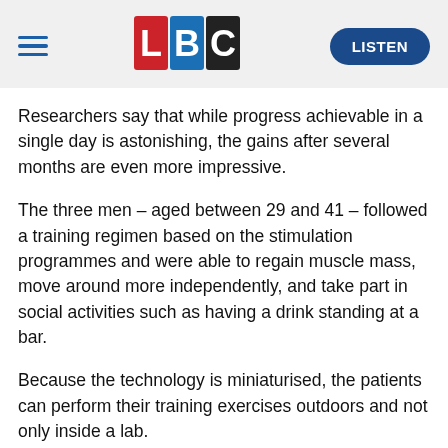LBC — LISTEN
Researchers say that while progress achievable in a single day is astonishing, the gains after several months are even more impressive.
The three men – aged between 29 and 41 – followed a training regimen based on the stimulation programmes and were able to regain muscle mass, move around more independently, and take part in social activities such as having a drink standing at a bar.
Because the technology is miniaturised, the patients can perform their training exercises outdoors and not only inside a lab.
In 2018 the researchers reported that David Mzee, who had been left paralysed after a sports accident, got up from his wheelchair and began to walk with the help of a wall…